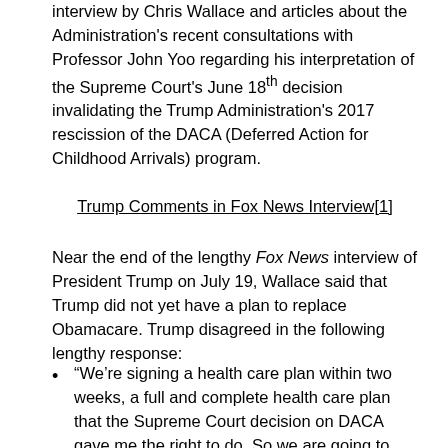interview by Chris Wallace and articles about the Administration's recent consultations with Professor John Yoo regarding his interpretation of the Supreme Court's June 18th decision invalidating the Trump Administration's 2017 rescission of the DACA (Deferred Action for Childhood Arrivals) program.
Trump Comments in Fox News Interview[1]
Near the end of the lengthy Fox News interview of President Trump on July 19, Wallace said that Trump did not yet have a plan to replace Obamacare. Trump disagreed in the following lengthy response:
“We’re signing a health care plan within two weeks, a full and complete health care plan that the Supreme Court decision on DACA gave me the right to do. So we are going to . . . sign an immigration plan, a health care plan, and various other plans. And nobody will have